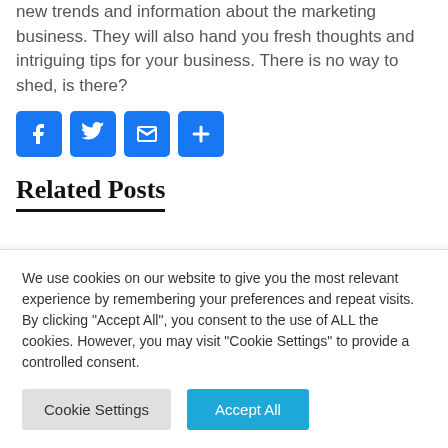new trends and information about the marketing business. They will also hand you fresh thoughts and intriguing tips for your business. There is no way to shed, is there?
[Figure (other): Social sharing icons: Facebook (f), Twitter (bird), Email (envelope), Share (+)]
Related Posts
We use cookies on our website to give you the most relevant experience by remembering your preferences and repeat visits. By clicking "Accept All", you consent to the use of ALL the cookies. However, you may visit "Cookie Settings" to provide a controlled consent.